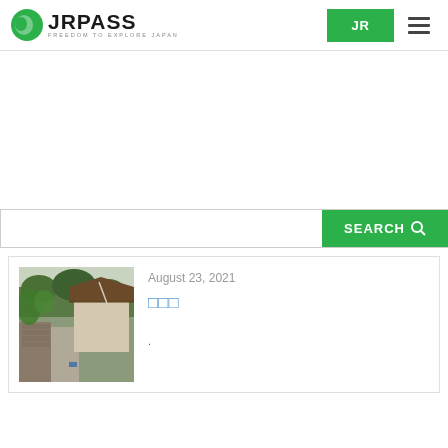[Figure (logo): JRPASS logo with green sphere icon and text JRPASS FREEDOM TO EXPLORE JAPAN]
[Figure (screenshot): JR button (green) and hamburger menu icon on the right side of the header]
[Figure (other): Advertisement area - blank white space]
SEARCH
August 23, 2021
□□□
[Figure (photo): Japanese traditional village street with stone walls and greenery]
.